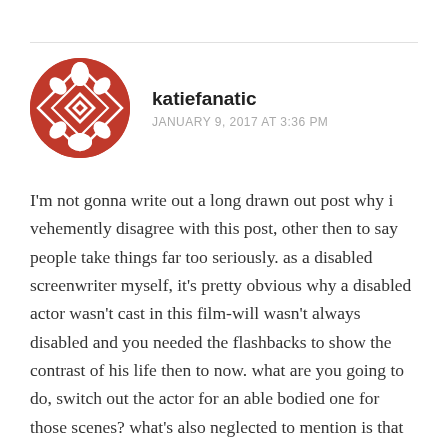[Figure (illustration): Round avatar icon with red and white geometric/diamond pattern design]
katiefanatic
JANUARY 9, 2017 AT 3:36 PM
I'm not gonna write out a long drawn out post why i vehemently disagree with this post, other then to say people take things far too seriously. as a disabled screenwriter myself, it's pretty obvious why a disabled actor wasn't cast in this film-will wasn't always disabled and you needed the flashbacks to show the contrast of his life then to now. what are you going to do, switch out the actor for an able bodied one for those scenes? what's also neglected to mention is that will becomes disabled in an accident walking across the street. i didn't read the book but that's how it